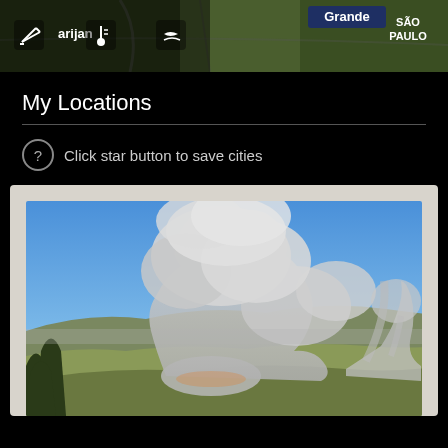[Figure (map): Satellite map view showing green terrain with city labels including 'Grande' and 'SÃO PAULO', with weather/location UI icons in top-left corner (pencil, temperature, wind icons) and location label 'arijan']
My Locations
Click star button to save cities
[Figure (photo): Outdoor photograph of a large wildfire with massive grey smoke plume billowing into a clear blue sky over a forested mountain landscape and valley. Trees visible in foreground, rolling hills and terrain in background.]